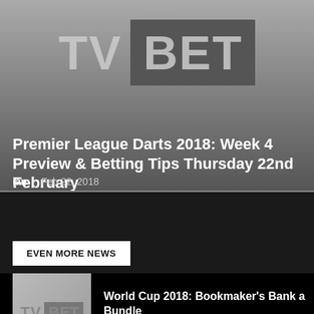[Figure (logo): TV BET logo — 'TV' in light grey large bold text, 'BET' in a darker grey box, on a gradient grey background]
Premier League Darts 2018: Week 4 Preview & Betting Tips Thursday 22nd February
ian - Feb 22, 2018
EVEN MORE NEWS
[Figure (logo): TV BET thumbnail logo on light grey background]
World Cup 2018: Bookmaker's Bank a Bundle
Jul 26, 2018